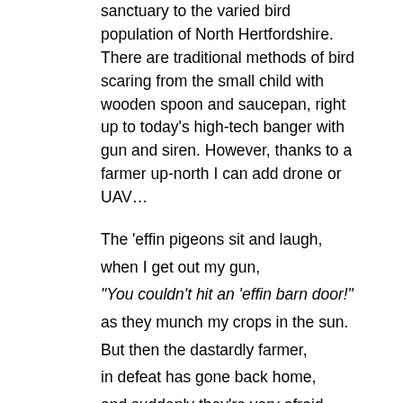sanctuary to the varied bird population of North Hertfordshire. There are traditional methods of bird scaring from the small child with wooden spoon and saucepan, right up to today's high-tech banger with gun and siren. However, thanks to a farmer up-north I can add drone or UAV…
The 'effin pigeons sit and laugh,
when I get out my gun,
"You couldn't hit an 'effin barn door!"
as they munch my crops in the sun.
But then the dastardly farmer,
in defeat has gone back home,
and suddenly they're very afraid,
rape alarms on the feet of his drone!
"Oh good heavens what is that?
the noise goes through my head!"
with a cough they all fly off,
to my neighbours crops instead!
With best wishes for April Fools Day and apologies to all my farming neighbours! Coincidently this also happens to